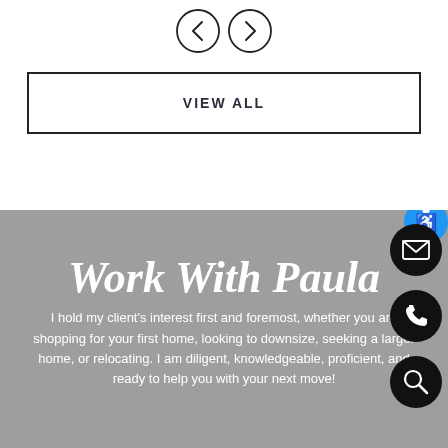[Figure (other): Navigation left and right arrow circle buttons]
VIEW ALL
Work With Paula
I hold my client's interest first and foremost, whether you are shopping for your first home, looking to downsize, seeking a larger home, or relocating. I am diligent, knowledgeable, proficient, and ready to help you with your next move!